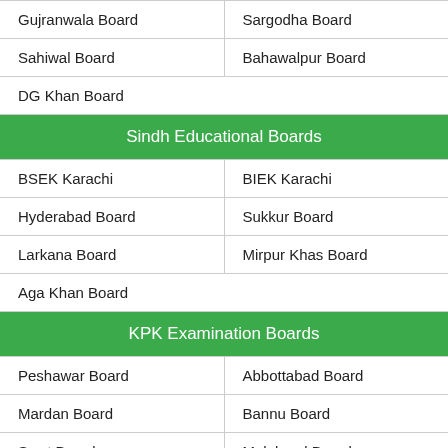Gujranwala Board
Sargodha Board
Sahiwal Board
Bahawalpur Board
DG Khan Board
Sindh Educational Boards
BSEK Karachi
BIEK Karachi
Hyderabad Board
Sukkur Board
Larkana Board
Mirpur Khas Board
Aga Khan Board
KPK Examination Boards
Peshawar Board
Abbottabad Board
Mardan Board
Bannu Board
Swat Board
Malakand Board